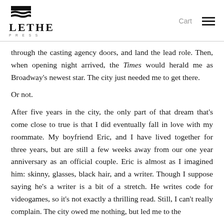LETHE — Cart [menu]
through the casting agency doors, and land the lead role. Then, when opening night arrived, the Times would herald me as Broadway's newest star. The city just needed me to get there.
Or not.
After five years in the city, the only part of that dream that's come close to true is that I did eventually fall in love with my roommate. My boyfriend Eric, and I have lived together for three years, but are still a few weeks away from our one year anniversary as an official couple. Eric is almost as I imagined him: skinny, glasses, black hair, and a writer. Though I suppose saying he's a writer is a bit of a stretch. He writes code for videogames, so it's not exactly a thrilling read. Still, I can't really complain. The city owed me nothing, but led me to the